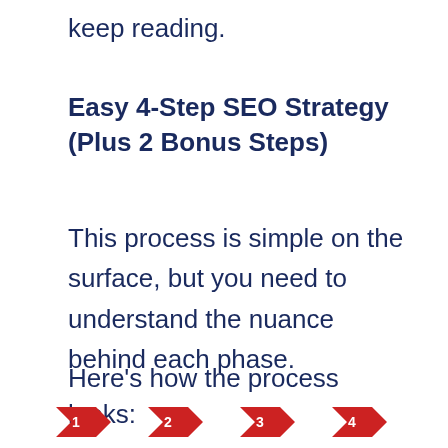keep reading.
Easy 4-Step SEO Strategy (Plus 2 Bonus Steps)
This process is simple on the surface, but you need to understand the nuance behind each phase.
Here’s how the process looks:
[Figure (infographic): Four numbered red arrow chevron icons (1, 2, 3, 4) arranged horizontally at the bottom of the page, representing steps in a process.]